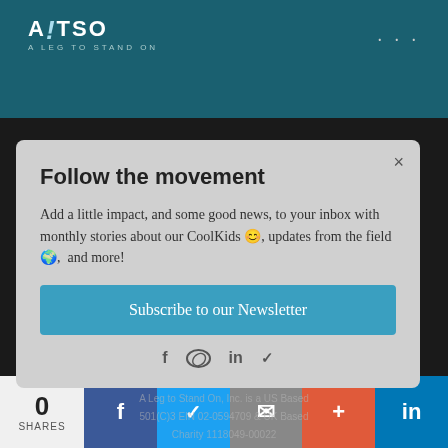ALTSO — A LEG TO STAND ON
Follow the movement
Add a little impact, and some good news, to your inbox with monthly stories about our CoolKids 😊, updates from the field 🌍, and more!
Subscribe to our Newsletter
A Leg to Stand On, Inc. is a US Based 501(C)3 EIN 02-0594709 & UK Based Charity 1118049-00022
About us.  Financials.  Get our emails.  Videos.
0 SHARES